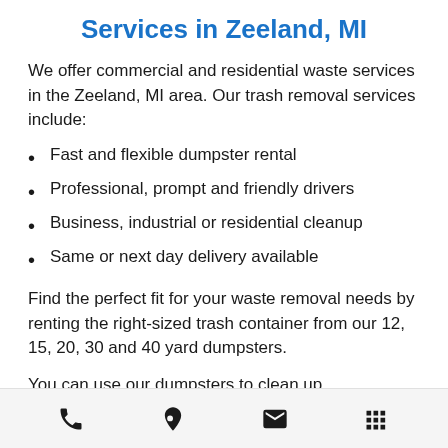Services in Zeeland, MI
We offer commercial and residential waste services in the Zeeland, MI area. Our trash removal services include:
Fast and flexible dumpster rental
Professional, prompt and friendly drivers
Business, industrial or residential cleanup
Same or next day delivery available
Find the perfect fit for your waste removal needs by renting the right-sized trash container from our 12, 15, 20, 30 and 40 yard dumpsters.
You can use our dumpsters to clean up messes of all kinds, including storm
Phone | Location | Email | Menu icons